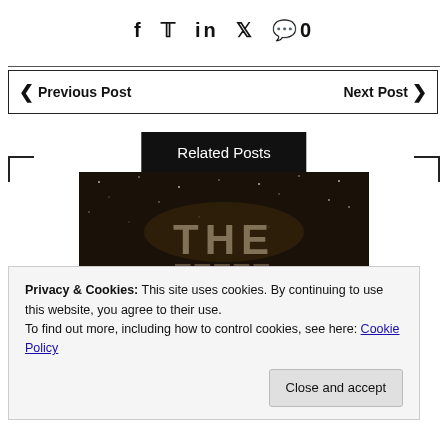f  t  in  p  💬 0
◀  Previous Post    Next Post  ▶
Related Posts
[Figure (photo): Dark movie title card showing the text 'THE' against a starry/space background]
Privacy & Cookies: This site uses cookies. By continuing to use this website, you agree to their use.
To find out more, including how to control cookies, see here: Cookie Policy
Close and accept